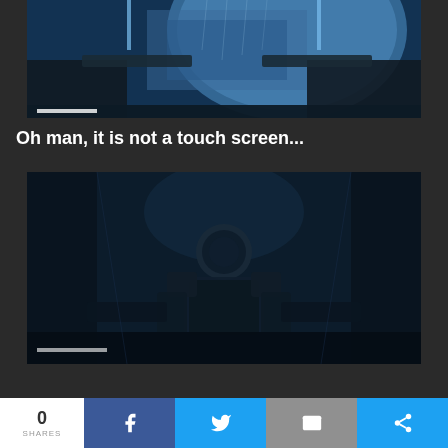[Figure (screenshot): Top screenshot from a video game showing a blue-tinted sci-fi cockpit scene with mechanical components and a large celestial body in the background. HUD elements visible including a progress bar at the bottom.]
Oh man, it is not a touch screen...
[Figure (screenshot): Bottom screenshot from a dark sci-fi video game showing a humanoid character in a space suit or armor seated in a cockpit, surrounded by mechanical elements. Scene is very dark with low lighting. HUD progress bar at the bottom.]
0 SHARES | Facebook share | Twitter share | Email share | Other share